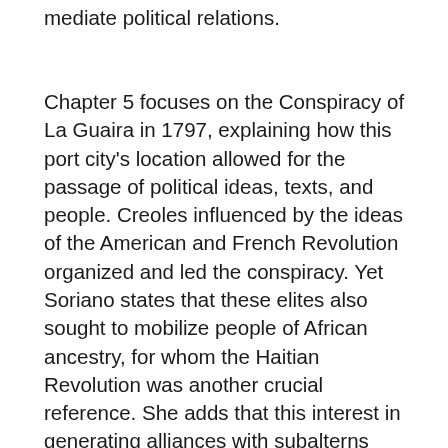mediate political relations.
Chapter 5 focuses on the Conspiracy of La Guaira in 1797, explaining how this port city's location allowed for the passage of political ideas, texts, and people. Creoles influenced by the ideas of the American and French Revolution organized and led the conspiracy. Yet Soriano states that these elites also sought to mobilize people of African ancestry, for whom the Haitian Revolution was another crucial reference. She adds that this interest in generating alliances with subalterns motivated elites to produce accessible documents that would allow for those ideological connections to be established. The interesting documentation on which Soriano's analysis is based suggests that the elites' efforts included writing songs and other